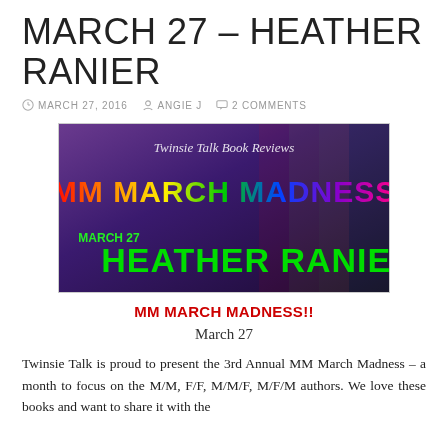MARCH 27 – HEATHER RANIER
MARCH 27, 2016  ANGIE J  2 COMMENTS
[Figure (illustration): MM March Madness banner image with rainbow text 'MM MARCH MADNESS' and green text 'MARCH 27 HEATHER RANIER' on a dark purple background, with 'Twinsie Talk Book Reviews' written in italic script at the top]
MM MARCH MADNESS!!
March 27
Twinsie Talk is proud to present the 3rd Annual MM March Madness – a month to focus on the M/M, F/F, M/M/F, M/F/M authors. We love these books and want to share it with the